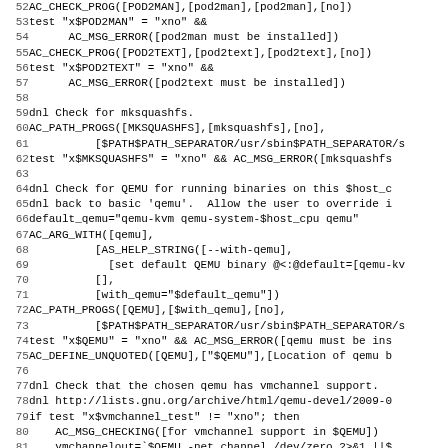[Figure (screenshot): Source code listing (configure.ac or similar autoconf script) showing lines 52-83, with line numbers on the left and monospaced code on the right. Content includes AC_CHECK_PROG, AC_PATH_PROGS, AC_ARG_WITH, AC_DEFINE_UNQUOTED macro calls and dnl comments checking for pod2man, pod2text, mksquashfs, and QEMU with vmchannel support.]